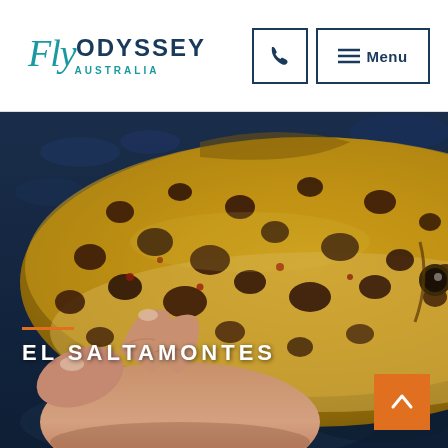[Figure (logo): Fly Odyssey Australia logo with cursive 'Fly' text and ODYSSEY in bold teal letters, AUSTRALIA below in smaller teal text]
[Figure (other): Phone icon button in a square border]
[Figure (other): Menu button with hamburger icon and text 'Menu' in a square border]
[Figure (photo): Close-up photograph of a brown trout being held by a human hand. The fish has golden-yellow sides with dark black and brown spots and a few red spots, typical of a brown trout. The background shows dark blue water.]
EL SALTAMONTES